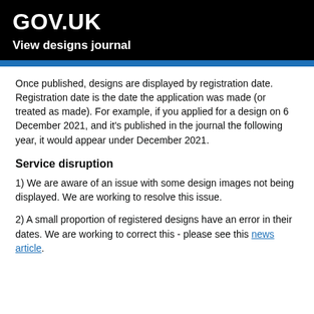GOV.UK
View designs journal
Once published, designs are displayed by registration date. Registration date is the date the application was made (or treated as made). For example, if you applied for a design on 6 December 2021, and it's published in the journal the following year, it would appear under December 2021.
Service disruption
1) We are aware of an issue with some design images not being displayed. We are working to resolve this issue.
2) A small proportion of registered designs have an error in their dates. We are working to correct this - please see this news article.